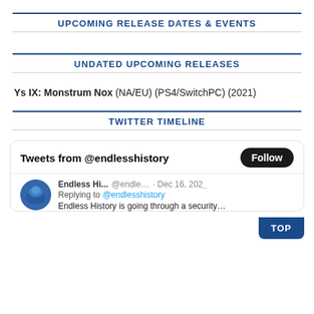UPCOMING RELEASE DATES & EVENTS
UNDATED UPCOMING RELEASES
Ys IX: Monstrum Nox (NA/EU) (PS4/SwitchPC) (2021)
TWITTER TIMELINE
[Figure (screenshot): Twitter timeline widget showing Tweets from @endlesshistory with a Follow button, and a tweet from Endless Hi... @endle... Dec 16, 202_ replying to @endlesshistory: Endless History is going through a security...]
TOP